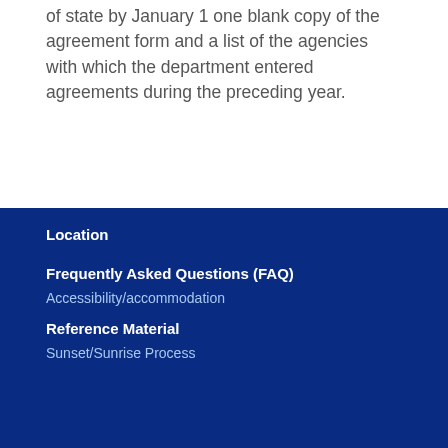of state by January 1 one blank copy of the agreement form and a list of the agencies with which the department entered agreements during the preceding year.
Location
Frequently Asked Questions (FAQ)
Accessibility/accommodation
Reference Material
Sunset/Sunrise Process